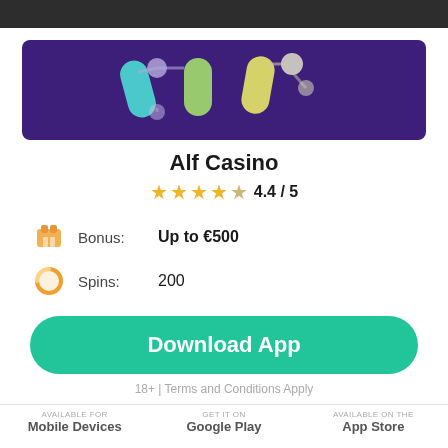[Figure (logo): Alf Casino logo on dark purple background — stylized 'Alf' text with colorful pill-shaped letters (cyan, green, yellow) and connected circular nodes on a dark purple/indigo banner.]
Alf Casino
4.4 / 5
Bonus: Up to €500
Spins: 200
Download App
18+ | Terms and Conditions Apply
Available for Mobile Devices   GET IT ON Google Play   Available on the App Store